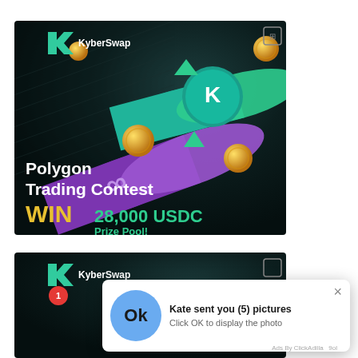[Figure (screenshot): KyberSwap advertisement banner for Polygon Trading Contest. Dark background with purple and teal 3D tube/cylinder shapes and gold coins. Text reads: KyberSwap logo, 'Polygon Trading Contest', 'WIN 28,000 USDC Prize Pool!'. Small indicator icon in top right corner.]
[Figure (screenshot): Second KyberSwap advertisement banner (partially visible, same style as first). Overlaid with a browser notification popup: avatar circle with 'Ok' text and red badge '1', title 'Kate sent you (5) pictures', subtitle 'Click OK to display the photo', close button X, and 'Ads By ClickAdilla' footer text.]